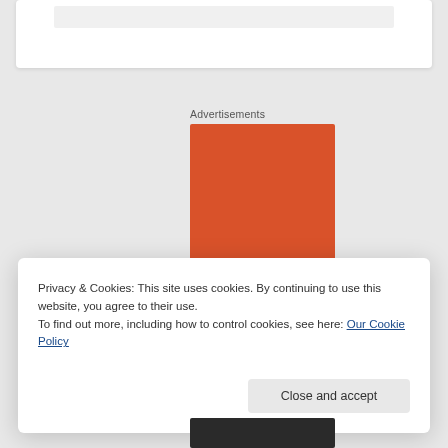[Figure (screenshot): Top white card with inner image placeholder on grey background]
Advertisements
[Figure (illustration): Orange advertisement banner with white bold text reading 'Search, browse, and email']
Privacy & Cookies: This site uses cookies. By continuing to use this website, you agree to their use.
To find out more, including how to control cookies, see here: Our Cookie Policy
Close and accept